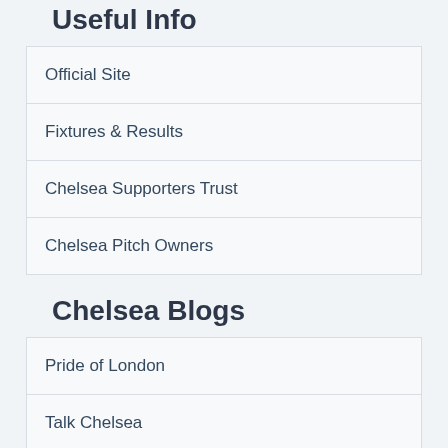Useful Info
Official Site
Fixtures & Results
Chelsea Supporters Trust
Chelsea Pitch Owners
Chelsea Blogs
Pride of London
Talk Chelsea
We Ain't Go No History